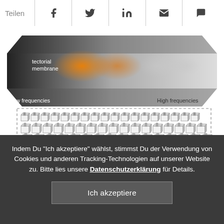Teilen [social share icons: Facebook, Twitter, LinkedIn, Email, Comment]
[Figure (illustration): 3D diagram of the cochlea showing pitch tracking. Upper layer labeled 'tectorial membrane' with orange/amber elliptical vibration patterns fading from left (Low frequencies) to right (High frequencies). Lower section shows rows of hair cells (small cube-like structures). Dashed border outlines the hair cell region.]
Figure 5: Pitch tracking inside the cochlea.
Indem Du "Ich akzeptiere" wählst, stimmst Du der Verwendung von Cookies und anderen Tracking-Technologien auf unserer Website zu. Bitte lies unsere Datenschutzerklärung für Details.
Ich akzeptiere